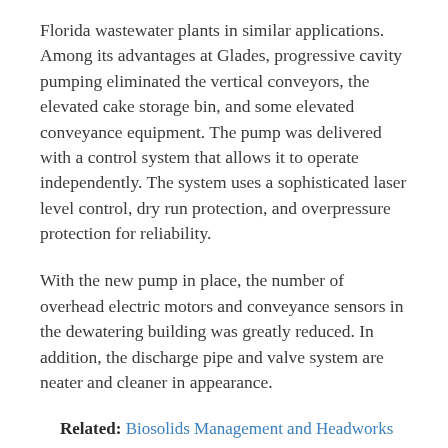Florida wastewater plants in similar applications. Among its advantages at Glades, progressive cavity pumping eliminated the vertical conveyors, the elevated cake storage bin, and some elevated conveyance equipment. The pump was delivered with a control system that allows it to operate independently. The system uses a sophisticated laser level control, dry run protection, and overpressure protection for reliability.
With the new pump in place, the number of overhead electric motors and conveyance sensors in the dewatering building was greatly reduced. In addition, the discharge pipe and valve system are neater and cleaner in appearance.
Related: Biosolids Management and Headworks